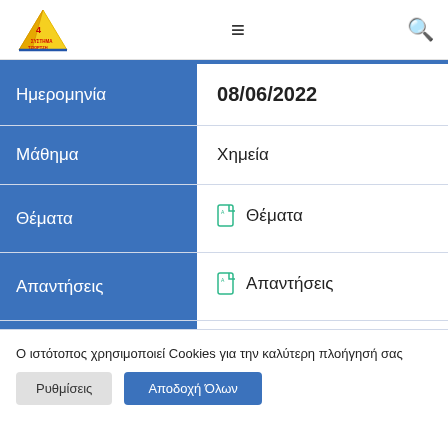[Figure (logo): ΣΥΣΤΗΜΑ ΤΖΙΟΡΤΖΗ triangular logo in yellow and red with text]
| Ημερομηνία | 08/06/2022 |
| Μάθημα | Χημεία |
| Θέματα | 📄 Θέματα |
| Απαντήσεις | 📄 Απαντήσεις |
Ο ιστότοπος χρησιμοποιεί Cookies για την καλύτερη πλοήγησή σας
Ρυθμίσεις
Αποδοχή Όλων